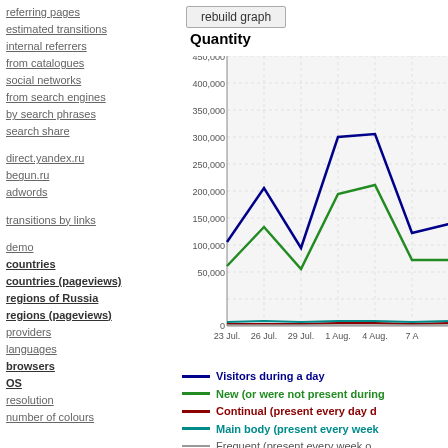referring pages
estimated transitions
internal referrers
from catalogues
social networks
from search engines
by search phrases
search share
direct.yandex.ru
begun.ru
adwords
transitions by links
demo
countries
countries (pageviews)
regions of Russia
regions (pageviews)
providers
languages
browsers
OS
resolution
number of colours
Quantity
[Figure (line-chart): Quantity]
Visitors during a day | New (or were not present during...) | Continual (present every day d...) | Main body (present every week...) | Frequent (present every week o...)